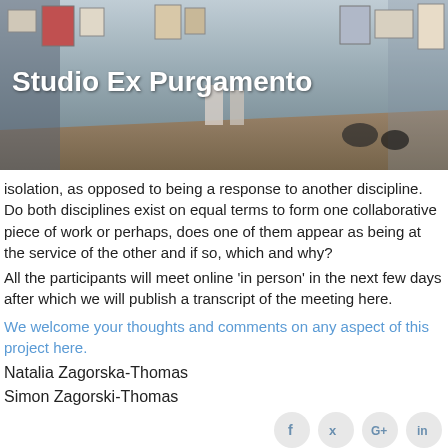[Figure (photo): Panoramic photo of an art gallery interior (Studio Ex Purgamento) showing framed artworks on walls, wooden floors, and sculptures, with the gallery name overlaid in white bold text.]
isolation, as opposed to being a response to another discipline. Do both disciplines exist on equal terms to form one collaborative piece of work or perhaps, does one of them appear as being at the service of the other and if so, which and why?
All the participants will meet online 'in person' in the next few days after which we will publish a transcript of the meeting here.
We welcome your thoughts and comments on any aspect of this project here.
Natalia Zagorska-Thomas
Simon Zagorski-Thomas